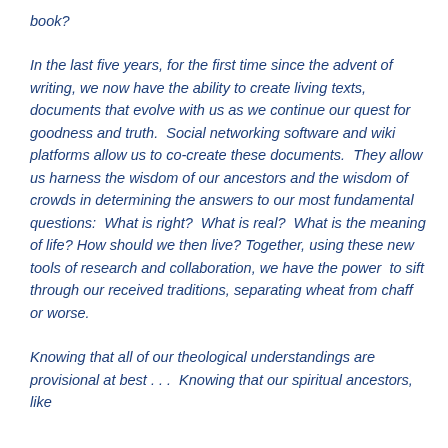book?
In the last five years, for the first time since the advent of writing, we now have the ability to create living texts, documents that evolve with us as we continue our quest for goodness and truth.  Social networking software and wiki platforms allow us to co-create these documents.  They allow us harness the wisdom of our ancestors and the wisdom of crowds in determining the answers to our most fundamental questions:  What is right?  What is real?  What is the meaning of life? How should we then live? Together, using these new tools of research and collaboration, we have the power  to sift through our received traditions, separating wheat from chaff or worse.
Knowing that all of our theological understandings are provisional at best . . .  Knowing that our spiritual ancestors, like